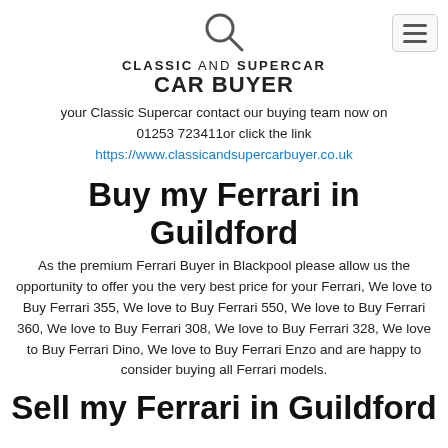[Figure (logo): Classic and Supercar Car Buyer logo with magnifying glass icon above the text]
your Classic Supercar contact our buying team now on 01253 723411or click the link https://www.classicandsupercarbuyer.co.uk
Buy my Ferrari in Guildford
As the premium Ferrari Buyer in Blackpool please allow us the opportunity to offer you the very best price for your Ferrari, We love to Buy Ferrari 355, We love to Buy Ferrari 550, We love to Buy Ferrari 360, We love to Buy Ferrari 308, We love to Buy Ferrari 328, We love to Buy Ferrari Dino, We love to Buy Ferrari Enzo and are happy to consider buying all Ferrari models.
Sell my Ferrari in Guildford